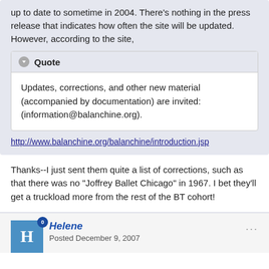up to date to sometime in 2004. There's nothing in the press release that indicates how often the site will be updated. However, according to the site,
Quote
Updates, corrections, and other new material (accompanied by documentation) are invited: (information@balanchine.org).
http://www.balanchine.org/balanchine/introduction.jsp
Thanks--I just sent them quite a list of corrections, such as that there was no "Joffrey Ballet Chicago" in 1967. I bet they'll get a truckload more from the rest of the BT cohort!
Helene
Posted December 9, 2007